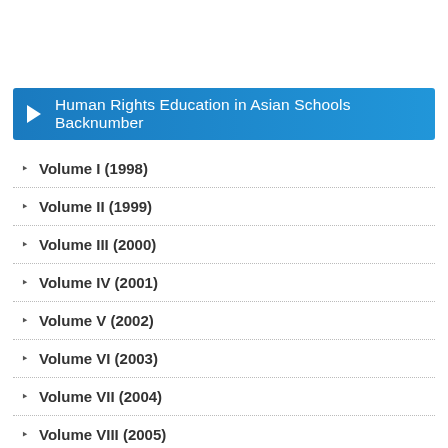Human Rights Education in Asian Schools Backnumber
Volume I (1998)
Volume II (1999)
Volume III (2000)
Volume IV (2001)
Volume V (2002)
Volume VI (2003)
Volume VII (2004)
Volume VIII (2005)
Volume IX (2006)